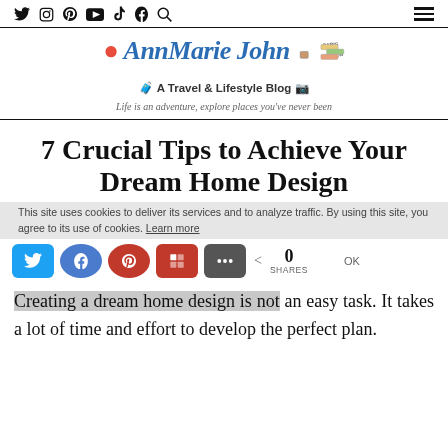Social media icons: Twitter, Instagram, Pinterest, YouTube, TikTok, Facebook, Search | Hamburger menu
[Figure (logo): AnnMarie John blog logo: A Travel & Lifestyle Blog, Life is an adventure, explore places you've never been]
7 Crucial Tips to Achieve Your Dream Home Design
This site uses cookies to deliver its services and to analyze traffic. By using this site, you agree to its use of cookies. Learn more
Share buttons: Twitter, Facebook, Pinterest, Flipboard, More | 0 SHARES
Creating a dream home design is not an easy task. It takes a lot of time and effort to develop the perfect plan.